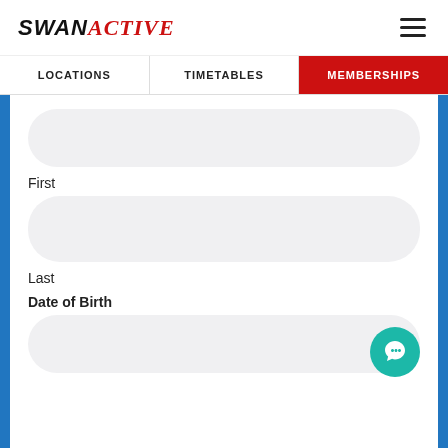SWAN ACTIVE
LOCATIONS
TIMETABLES
MEMBERSHIPS
First
Last
Date of Birth